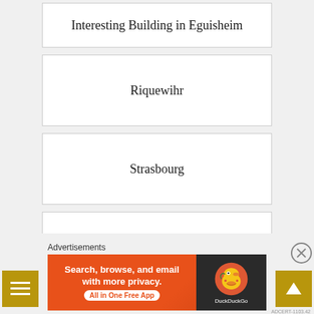Interesting Building in Eguisheim
Riquewihr
Strasbourg
Bergheim
Advertisements
[Figure (screenshot): DuckDuckGo advertisement banner: 'Search, browse, and email with more privacy. All in One Free App' with DuckDuckGo logo on dark background]